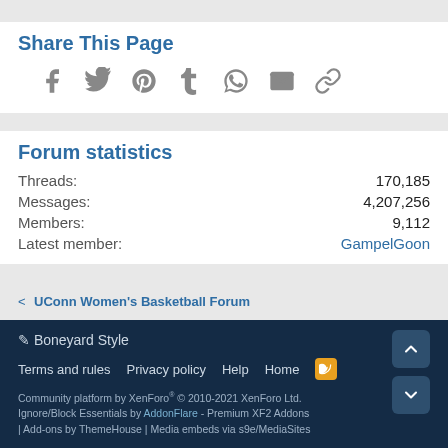Share This Page
[Figure (infographic): Social share icons: Facebook, Twitter, Pinterest, Tumblr, WhatsApp, Email, Link]
Forum statistics
| Threads: | 170,185 |
| Messages: | 4,207,256 |
| Members: | 9,112 |
| Latest member: | GampelGoon |
< UConn Women's Basketball Forum
✏ Boneyard Style
Terms and rules  Privacy policy  Help  Home
Community platform by XenForo® © 2010-2021 XenForo Ltd. Ignore/Block Essentials by AddonFlare - Premium XF2 Addons | Add-ons by ThemeHouse | Media embeds via s9e/MediaSites